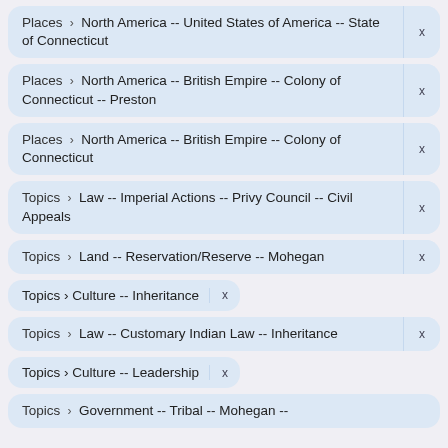Places › North America -- United States of America -- State of Connecticut
Places › North America -- British Empire -- Colony of Connecticut -- Preston
Places › North America -- British Empire -- Colony of Connecticut
Topics › Law -- Imperial Actions -- Privy Council -- Civil Appeals
Topics › Land -- Reservation/Reserve -- Mohegan
Topics › Culture -- Inheritance
Topics › Law -- Customary Indian Law -- Inheritance
Topics › Culture -- Leadership
Topics › Government -- Tribal -- Mohegan --